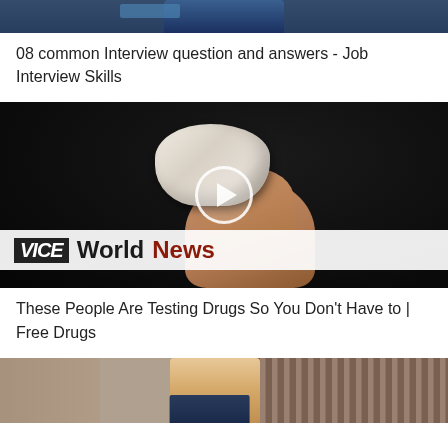[Figure (screenshot): Thumbnail image of a person in a suit, partially visible at top of page]
08 common Interview question and answers - Job Interview Skills
[Figure (screenshot): Video thumbnail showing a hand holding a white rock/chunk substance with VICE World News logo overlay and play button]
These People Are Testing Drugs So You Don't Have to | Free Drugs
[Figure (screenshot): Thumbnail image of a man in a suit partially visible at bottom of page]